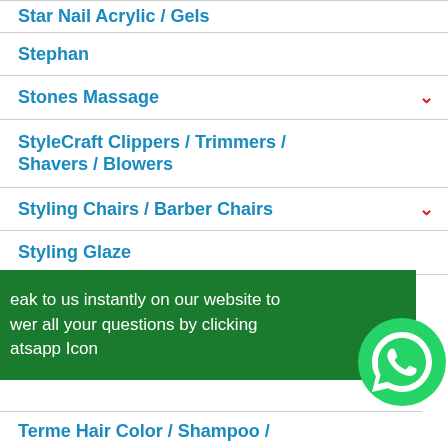Star Nail Acrylic / Gels
Stephan
Stones Massage
StyleCraft Clippers / Trimmers / Shavers / Blowers
Styling Chairs / Barber Chairs
Styling Glaze
Suavecito Barber Products / Hair Gel / Hair Wax / Aftershave / Shave Gel / Beard & Mustache /
Terme Hair Color / Shampoo /
eak to us instantly on our website to wer all your questions by clicking atsapp Icon